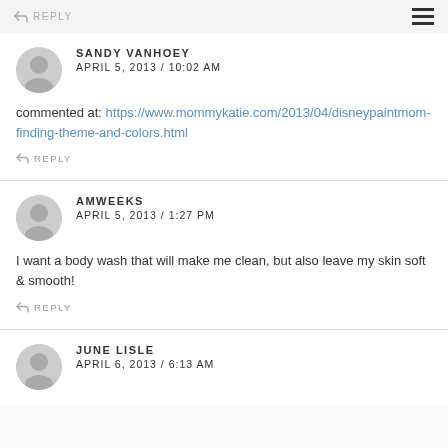REPLY
SANDY VANHOEY
APRIL 5, 2013 / 10:02 AM
commented at: https://www.mommykatie.com/2013/04/disneypaintmom-finding-theme-and-colors.html
REPLY
AMWEEKS
APRIL 5, 2013 / 1:27 PM
I want a body wash that will make me clean, but also leave my skin soft & smooth!
REPLY
JUNE LISLE
APRIL 6, 2013 / 6:13 AM